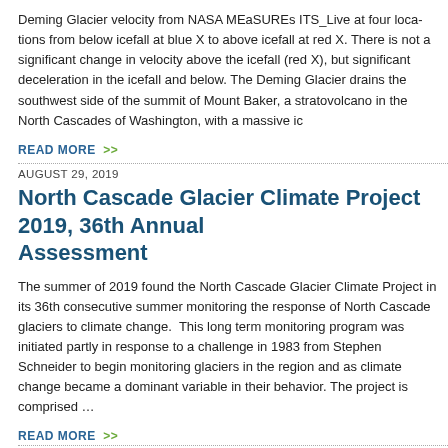Deming Glacier velocity from NASA MEaSUREs ITS_Live at four locations from below icefall at blue X to above icefall at red X. There is not a significant change in velocity above the icefall (red X), but significant deceleration in the icefall and below. The Deming Glacier drains the southwest side of the summit of Mount Baker, a stratovolcano in the North Cascades of Washington, with a massive ic
READ MORE >>
AUGUST 29, 2019
North Cascade Glacier Climate Project 2019, 36th Annual Assessment
The summer of 2019 found the North Cascade Glacier Climate Project in its 36th consecutive summer monitoring the response of North Cascade glaciers to climate change.  This long term monitoring program was initiated partly in response to a challenge in 1983 from Stephen Schneider to begin monitoring glaciers in the region and as climate change became a dominant variable in their behavior. The project is comprised ...
READ MORE >>